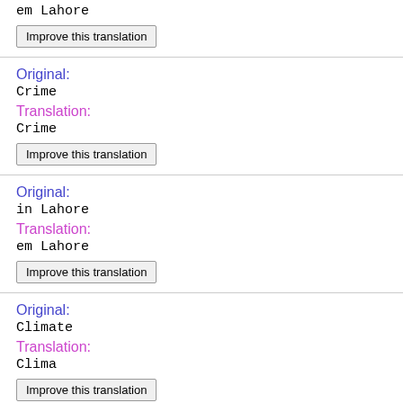em Lahore
Improve this translation
Original:
Crime
Translation:
Crime
Improve this translation
Original:
in Lahore
Translation:
em Lahore
Improve this translation
Original:
Climate
Translation:
Clima
Improve this translation
Original:
in Lahore